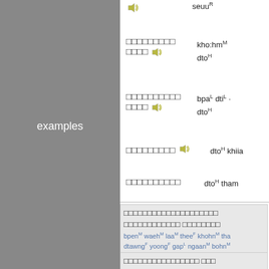examples
seuu R
kho:hm M dto H
bpa L dti L dto H
dto H khiia
dto H tham
bpen M waeh M laa M thee F khohn M tha... dtawng F yoong F gap L ngaan M bohn M ... "[It] is the time that people are ... desks or at meetings."
[second sentence block partial]